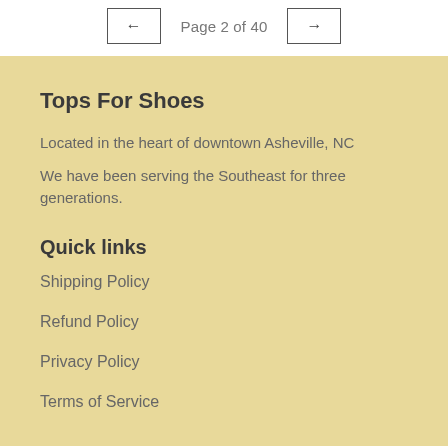← Page 2 of 40 →
Tops For Shoes
Located in the heart of downtown Asheville, NC
We have been serving the Southeast for three generations.
Quick links
Shipping Policy
Refund Policy
Privacy Policy
Terms of Service